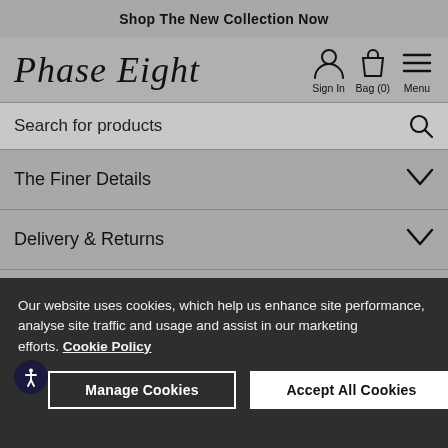Shop The New Collection Now
[Figure (logo): Phase Eight cursive logo text]
Sign In  Bag (0)  Menu
Search for products
The Finer Details
Delivery & Returns
Our website uses cookies, which help us enhance site performance, analyse site traffic and usage and assist in our marketing efforts. Cookie Policy
Manage Cookies  Accept All Cookies